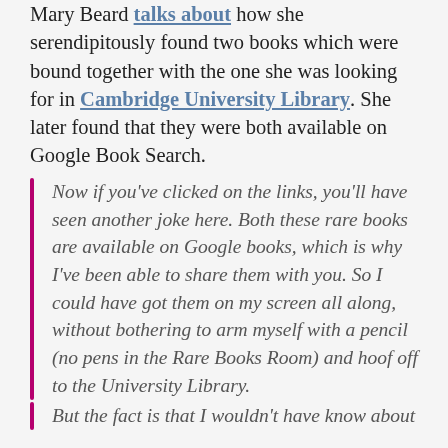Mary Beard talks about how she serendipitously found two books which were bound together with the one she was looking for in Cambridge University Library. She later found that they were both available on Google Book Search.
Now if you've clicked on the links, you'll have seen another joke here. Both these rare books are available on Google books, which is why I've been able to share them with you. So I could have got them on my screen all along, without bothering to arm myself with a pencil (no pens in the Rare Books Room) and hoof off to the University Library.
But the fact is that I wouldn't have know about